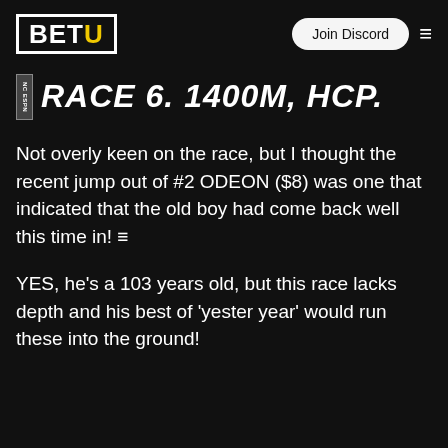BETU | Join Discord
RACE 6. 1400M, HCP.
Not overly keen on the race, but I thought the recent jump out of #2 ODEON ($8) was one that indicated that the old boy had come back well this time in! ☰
YES, he's a 103 years old, but this race lacks depth and his best of 'yester year' would run these into the ground!